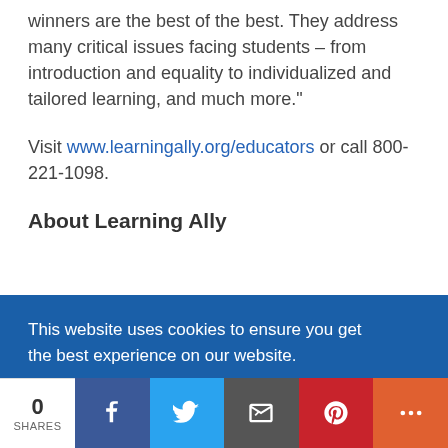winners are the best of the best. They address many critical issues facing students – from introduction and equality to individualized and tailored learning, and much more."
Visit www.learningally.org/educators or call 800-221-1098.
About Learning Ally
Learning Ally is a leading education... (obscured by cookie overlay)
This website uses cookies to ensure you get the best experience on our website. Learn more
Got it!
0 SHARES